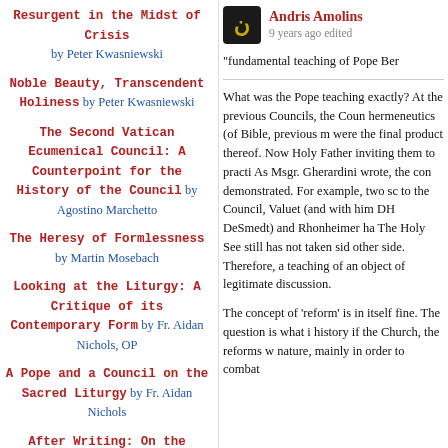Resurgent in the Midst of Crisis by Peter Kwasniewski
Noble Beauty, Transcendent Holiness by Peter Kwasniewski
The Second Vatican Ecumenical Council: A Counterpoint for the History of the Council by Agostino Marchetto
The Heresy of Formlessness by Martin Mosebach
Looking at the Liturgy: A Critique of its Contemporary Form by Fr. Aidan Nichols, OP
A Pope and a Council on the Sacred Liturgy by Fr. Aidan Nichols
After Writing: On the Liturgical Consummation of Philosophy by Catherine Pickstock
Looking Again at the Question of
Andris Amolins
9 years ago edited
"fundamental teaching of Pope Ber
What was the Pope teaching exactly? At the previous Councils, the Coun hermeneutics (of Bible, previous m were the final product thereof. Now Holy Father inviting them to practi As Msgr. Gherardini wrote, the con demonstrated. For example, two sc to the Council, Valuet (and with him DH DeSmedt) and Rhonheimer ha The Holy See still has not taken sid other side. Therefore, a teaching of an object of legitimate discussion.
The concept of 'reform' is in itself fine. The question is what i history if the Church, the reforms w nature, mainly in order to combat